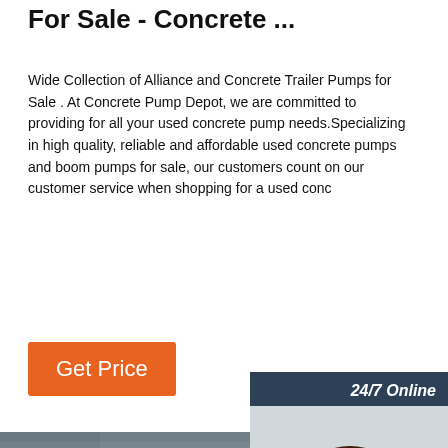For Sale - Concrete ...
Wide Collection of Alliance and Concrete Trailer Pumps for Sale . At Concrete Pump Depot, we are committed to providing for all your used concrete pump needs.Specializing in high quality, reliable and affordable used concrete pumps and boom pumps for sale, our customers count on our customer service when shopping for a used conc
[Figure (photo): Customer service agent woman with headset smiling, with '24/7 Online' header, 'Click here for free chat!' text, and 'QUOTATION' orange button, in a dark blue/teal widget overlay]
[Figure (photo): Industrial factory or warehouse interior with overhead crane, steel roof structure, and fluorescent lighting]
Get Price